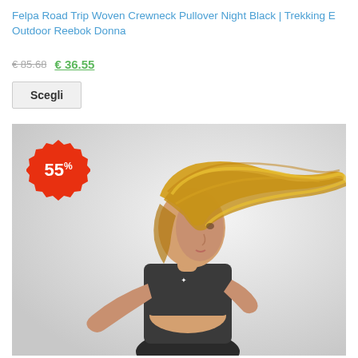Felpa Road Trip Woven Crewneck Pullover Night Black | Trekking E Outdoor Reebok Donna
€ 85.68  €  36.55
Scegli
[Figure (photo): Woman in athletic wear (dark sports bra and shorts) with blonde hair flying, jumping/moving dynamically against a light grey/white background. A red starburst discount badge showing 55% is overlaid in the top-left corner of the image.]